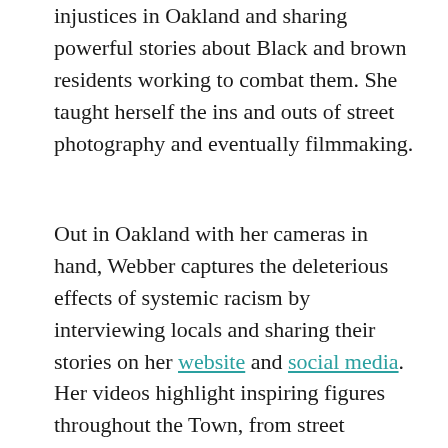injustices in Oakland and sharing powerful stories about Black and brown residents working to combat them. She taught herself the ins and outs of street photography and eventually filmmaking.
Out in Oakland with her cameras in hand, Webber captures the deleterious effects of systemic racism by interviewing locals and sharing their stories on her website and social media.  Her videos highlight inspiring figures throughout the Town, from street photographers like Allen Walker, to artist-activists such as Favianna Rodriguez, and graffiti artists like Amend TDK.